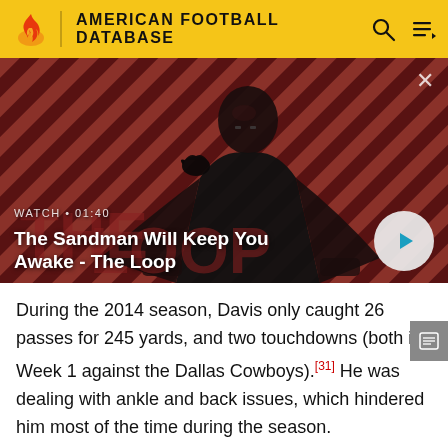AMERICAN FOOTBALL DATABASE
[Figure (screenshot): Video thumbnail showing a dark-cloaked figure with a raven on their shoulder against a diagonal red and black striped background. Text overlay reads: WATCH • 01:40 / The Sandman Will Keep You Awake - The Loop. A play button is shown on the right.]
During the 2014 season, Davis only caught 26 passes for 245 yards, and two touchdowns (both in Week 1 against the Dallas Cowboys).[31] He was dealing with ankle and back issues, which hindered him most of the time during the season.